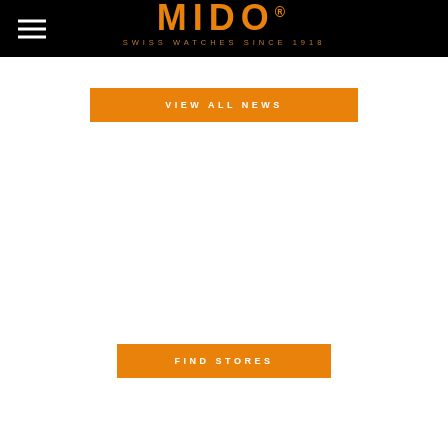MIDO® SWISS WATCHES SINCE 1918
VIEW ALL NEWS
FIND STORES